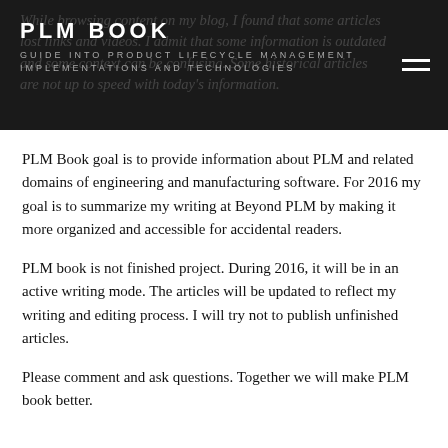PLM BOOK
GUIDE INTO PRODUCT LIFECYCLE MANAGEMENT
IMPLEMENTATIONS AND TECHNOLOGIES
PLM Book goal is to provide information about PLM and related domains of engineering and manufacturing software. For 2016 my goal is to summarize my writing at Beyond PLM by making it more organized and accessible for accidental readers.
PLM book is not finished project. During 2016, it will be in an active writing mode. The articles will be updated to reflect my writing and editing process. I will try not to publish unfinished articles.
Please comment and ask questions. Together we will make PLM book better.